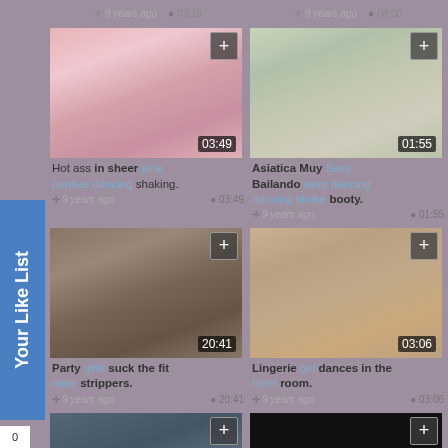[Figure (screenshot): Video thumbnail grid of adult content website showing 6 video cards with thumbnails, titles, timestamps and durations]
Hot ass in sheer pink panties dancing shaking.
9 years ago  03:49
Asiatica Muy Sexy Bailando sexy dancing dancing shake booty.
9 years ago  01:55
Party girls suck the fit male strippers.
9 years ago  20:41
Lingerie girl dances in the hotel room.
9 years ago  03:06
Your Like List